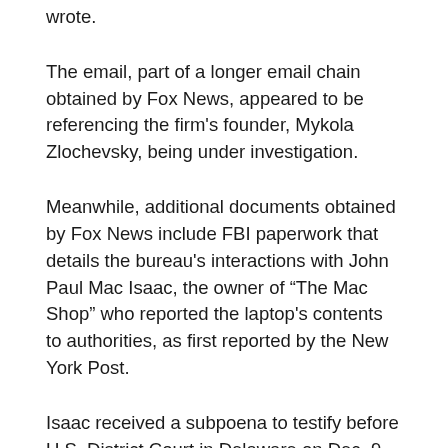wrote.
The email, part of a longer email chain obtained by Fox News, appeared to be referencing the firm's founder, Mykola Zlochevsky, being under investigation.
Meanwhile, additional documents obtained by Fox News include FBI paperwork that details the bureau's interactions with John Paul Mac Isaac, the owner of “The Mac Shop” who reported the laptop's contents to authorities, as first reported by the New York Post.
Isaac received a subpoena to testify before U.S. District Court in Delaware on Dec. 9, 2019, the documents show. One page shows what appears to be serial numbers for a laptop and hard drive taken into possession.